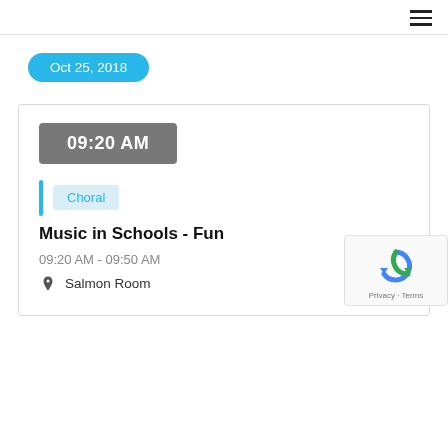≡
Oct 25, 2018
09:20 AM
Choral
Music in Schools - Fun
09:20 AM - 09:50 AM
Salmon Room